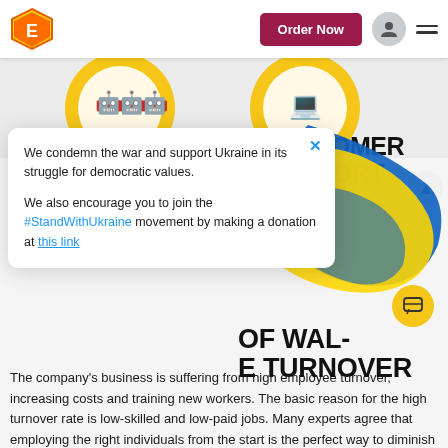Order Now
[Figure (illustration): Two circular badge icons with yellow rings and small robot/figure icons, each with a checkmark badge overlay]
[Figure (illustration): Ukraine flag swoosh decoration — yellow and blue wave graphic]
We condemn the war and support Ukraine in its struggle for democratic values.

We also encourage you to join the #StandWithUkraine movement by making a donation at this link
CUSTOMER SUPPORT 24/7
OF WAL- E TURNOVER
The company's business is suffering from high employee turnover, increasing costs and training new workers. The basic reason for the high turnover rate is low-skilled and low-paid jobs. Many experts agree that employing the right individuals from the start is the perfect way to diminish